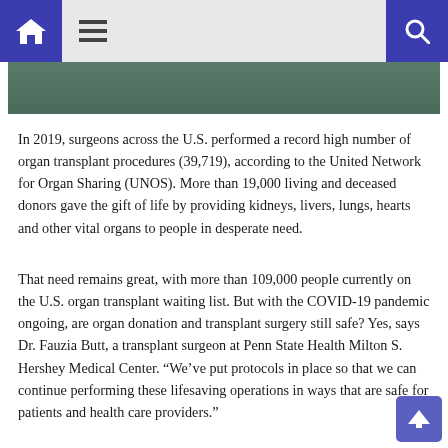Navigation header with home, menu, and search icons
[Figure (photo): Partial photo strip at top of article page]
In 2019, surgeons across the U.S. performed a record high number of organ transplant procedures (39,719), according to the United Network for Organ Sharing (UNOS). More than 19,000 living and deceased donors gave the gift of life by providing kidneys, livers, lungs, hearts and other vital organs to people in desperate need.
That need remains great, with more than 109,000 people currently on the U.S. organ transplant waiting list. But with the COVID-19 pandemic ongoing, are organ donation and transplant surgery still safe? Yes, says Dr. Fauzia Butt, a transplant surgeon at Penn State Health Milton S. Hershey Medical Center. “We’ve put protocols in place so that we can continue performing these lifesaving operations in ways that are safe for patients and health care providers.”
The Centers for Medicare and Medicaid Services considers transplant surgeries to be high acuity, with the same status as trauma operations